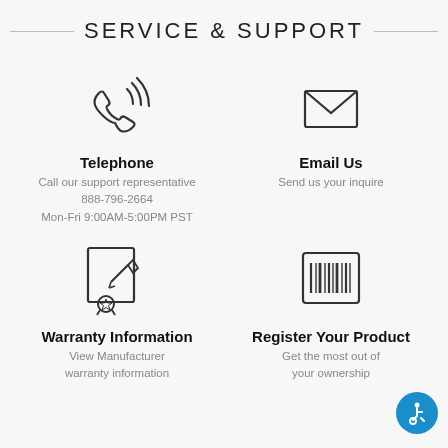SERVICE & SUPPORT
[Figure (illustration): Phone/telephone icon with signal waves]
Telephone
Call our support representative
888-796-2664
Mon-Fri 9:00AM-5:00PM PST
[Figure (illustration): Envelope/email icon]
Email Us
Send us your inquire
[Figure (illustration): Warranty document icon with pencil and award badge]
Warranty Information
View Manufacturer warranty information
[Figure (illustration): Barcode/product registration icon]
Register Your Product
Get the most out of your ownership